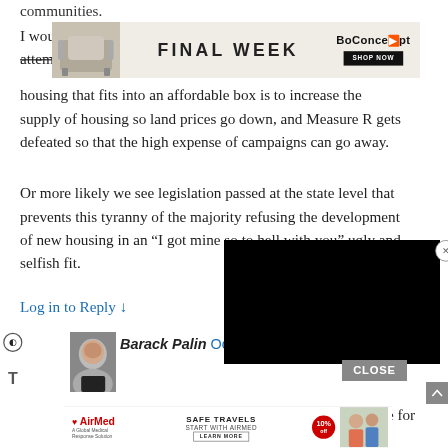communities.
[Figure (screenshot): BoConcept advertisement banner with 'FINAL WEEK' text, a chair image on the left, and a 'SHOP NOW' button on a black background on the right.]
I would suggest that all the development-ignorant stop attempting to micro... they think e... housing that fits into an affordable box is to increase the supply of housing so land prices go down, and Measure R gets defeated so that the high expense of campaigns can go away.
Or more likely we see legislation passed at the state level that prevents this tyranny of the majority refusing the development of new housing in an “I got mine so to hell with you” ugly and selfish fit.
Log in to Reply ↓
[Figure (screenshot): Black video player overlay covering part of the page with a close (X) button in a circle.]
[Figure (photo): Avatar photo of a person (Barack Palin commenter)]
Barack Palin Octo...
Sorry Frankly, but it’s so funny hearing you advocate for the state to step in on anything.
CLOSE
[Figure (screenshot): AirMed advertisement banner at the bottom: 'SAFE TRAVELS START WITH AIRMED LEARN MORE' with 10% off badge.]